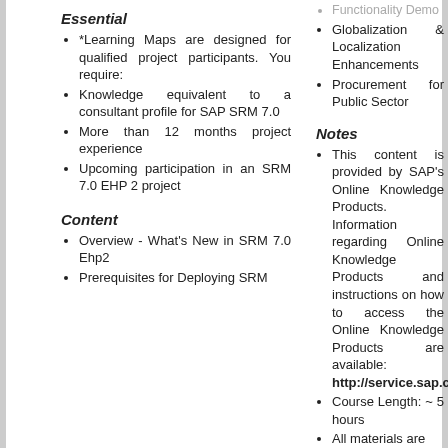Essential
*Learning Maps are designed for qualified project participants. You require:
Knowledge equivalent to a consultant profile for SAP SRM 7.0
More than 12 months project experience
Upcoming participation in an SRM 7.0 EHP 2 project
Content
Overview - What's New in SRM 7.0 Ehp2
Prerequisites for Deploying SRM
Functionality Demo
Globalization & Localization Enhancements
Procurement for Public Sector
Notes
This content is provided by SAP's Online Knowledge Products. Information regarding Online Knowledge Products and instructions on how to access the Online Knowledge Products are available: http://service.sap.com/okp
Course Length: ~ 5 hours
All materials are